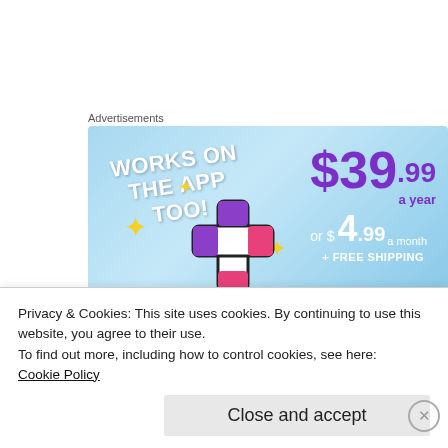Advertisements
[Figure (infographic): Advertisement banner with light blue background showing 'WORKS ON THE APP TOO!' text in white, a colorful plus icon with sparkles, and pricing: $39.99 a year or $4.99 a month + FREE SHIPPING]
I have never had a partner that wanted me to shine as much as Greg. He sees my
Privacy & Cookies: This site uses cookies. By continuing to use this website, you agree to their use.
To find out more, including how to control cookies, see here:
Cookie Policy
Close and accept